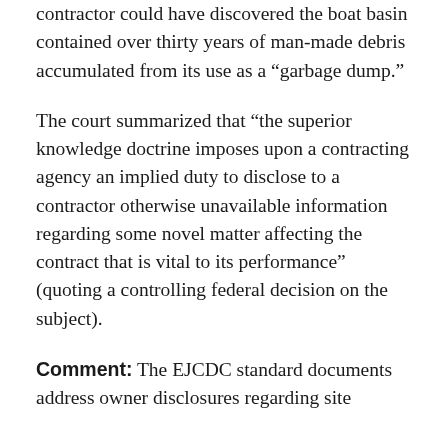contractor could have discovered the boat basin contained over thirty years of man-made debris accumulated from its use as a “garbage dump.”
The court summarized that “the superior knowledge doctrine imposes upon a contracting agency an implied duty to disclose to a contractor otherwise unavailable information regarding some novel matter affecting the contract that is vital to its performance” (quoting a controlling federal decision on the subject).
Comment: The EJCDC standard documents address owner disclosures regarding site